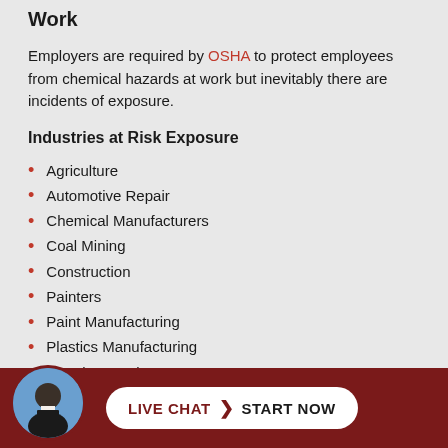Work
Employers are required by OSHA to protect employees from chemical hazards at work but inevitably there are incidents of exposure.
Industries at Risk Exposure
Agriculture
Automotive Repair
Chemical Manufacturers
Coal Mining
Construction
Painters
Paint Manufacturing
Plastics Manufacturing
Petroleum Industry
Railroad Workers